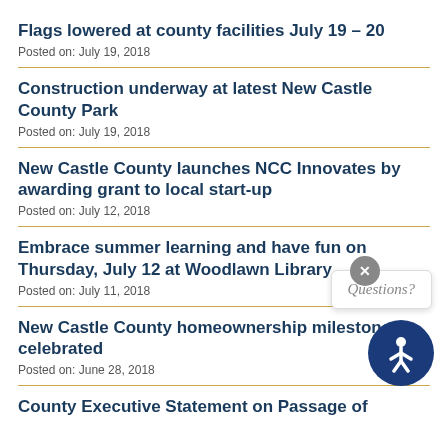Flags lowered at county facilities July 19 – 20
Posted on: July 19, 2018
Construction underway at latest New Castle County Park
Posted on: July 19, 2018
New Castle County launches NCC Innovates by awarding grant to local start-up
Posted on: July 12, 2018
Embrace summer learning and have fun on Thursday, July 12 at Woodlawn Library
Posted on: July 11, 2018
New Castle County homeownership milestones celebrated
Posted on: June 28, 2018
County Executive Statement on Passage of